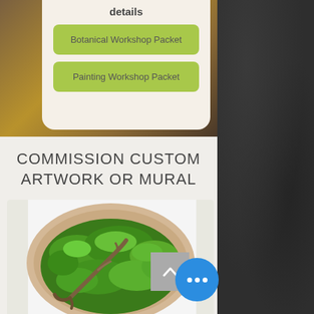details
Botanical Workshop Packet
Painting Workshop Packet
COMMISSION CUSTOM ARTWORK OR MURAL
[Figure (photo): Circular moss art in wooden frame with dried driftwood branch, displayed against white background]